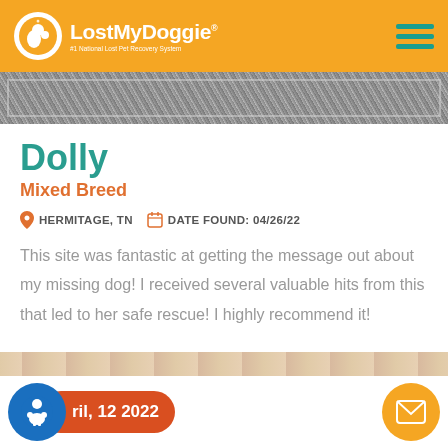LostMyDoggie - #1 National Lost Pet Recovery System
[Figure (photo): Grainy/textured photo strip at top of content area]
Dolly
Mixed Breed
HERMITAGE, TN   DATE FOUND: 04/26/22
This site was fantastic at getting the message out about my missing dog! I received several valuable hits from this that led to her safe rescue! I highly recommend it!
ril, 12 2022